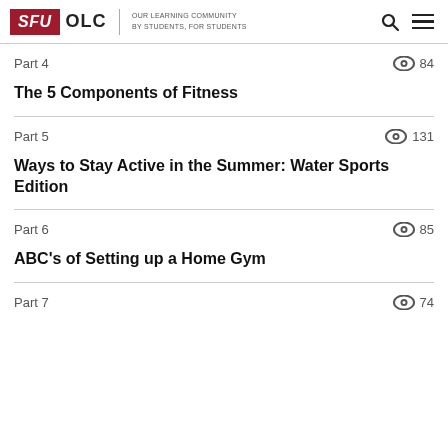SFU OLC | OUR LEARNING COMMUNITY BY STUDENTS, FOR STUDENTS
Part 4  84
The 5 Components of Fitness
Part 5  131
Ways to Stay Active in the Summer: Water Sports Edition
Part 6  85
ABC's of Setting up a Home Gym
Part 7  74